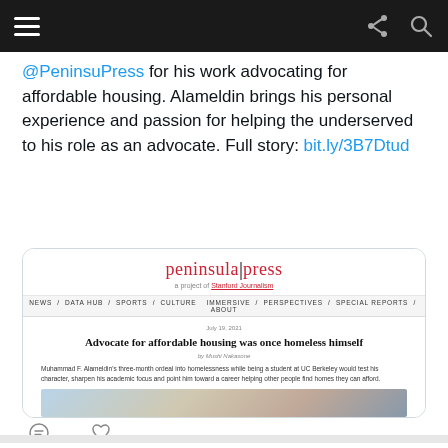Navigation bar with hamburger menu, share, and search icons
@PeninsuPress for his work advocating for affordable housing. Alameldin brings his personal experience and passion for helping the underserved to his role as an advocate. Full story: bit.ly/3B7Dtud
[Figure (screenshot): Screenshot of Peninsula Press article page showing headline 'Advocate for affordable housing was once homeless himself' with subtitle text and partial image]
Peninsula Pre... @PeninsuPr... · Aug 3  Fatal Collisions Involving Juvenile Cyclists